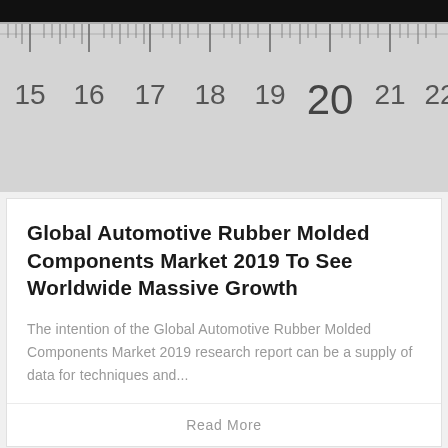[Figure (photo): Close-up photo of a ruler/measuring tape showing measurements from approximately 15 to 22, with dark rubber or plastic components visible at the top edge.]
Global Automotive Rubber Molded Components Market 2019 To See Worldwide Massive Growth
The intention of the Global Automotive Rubber Molded Components Market 2019 research report can be a supply of data for techniques and...
Read More
[Figure (photo): Partial image of rubber molded components with black borders at lower left and right, and a dark rounded component visible at the bottom center.]